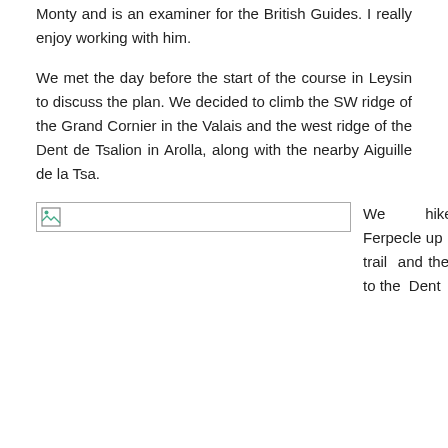Monty and is an examiner for the British Guides. I really enjoy working with him.
We met the day before the start of the course in Leysin to discuss the plan. We decided to climb the SW ridge of the Grand Cornier in the Valais and the west ridge of the Dent de Tsalion in Arolla, along with the nearby Aiguille de la Tsa.
[Figure (photo): A broken/missing image placeholder (small image icon in top-left corner of a bordered rectangle)]
We hiked from Ferpecle up a rugged trail and then glacier to the Dent Bl...